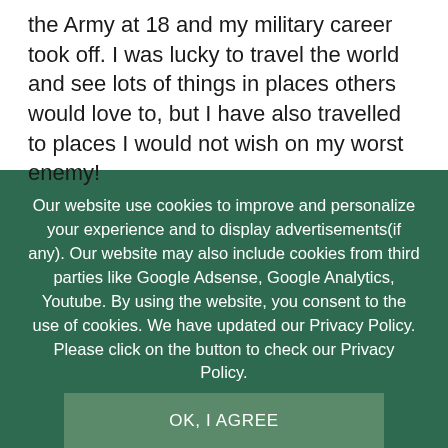the Army at 18 and my military career took off. I was lucky to travel the world and see lots of things in places others would love to, but I have also travelled to places I would not wish on my worst enemy!
Our website use cookies to improve and personalize your experience and to display advertisements(if any). Our website may also include cookies from third parties like Google Adsense, Google Analytics, Youtube. By using the website, you consent to the use of cookies. We have updated our Privacy Policy. Please click on the button to check our Privacy Policy.
OK, I AGREE